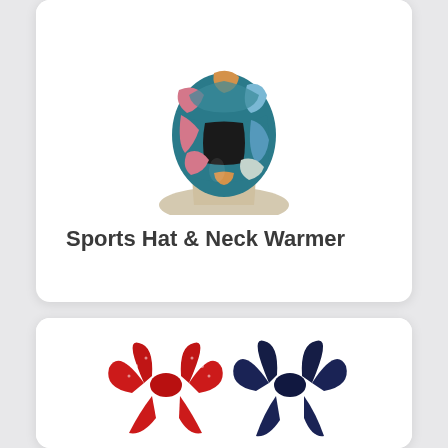[Figure (photo): A colorful patchwork fabric neck warmer/gaiter displayed on a beige mannequin neck form. The fabric features teal, pink, orange, and blue geometric patches. The gaiter is looped around the neck form showing its tubular shape.]
Sports Hat & Neck Warmer
[Figure (photo): Two bandana-style hair accessories displayed side by side. On the left is a red bandana with white paisley/floral print tied in a bow knot shape. On the right is a navy/dark blue bandana similarly tied in a bow knot shape. Both are shot on a white background.]